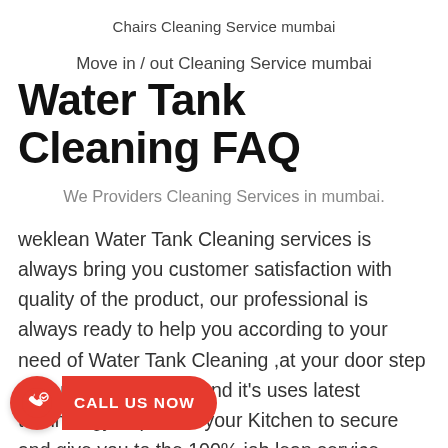Chairs Cleaning Service mumbai
Move in / out Cleaning Service mumbai
Water Tank Cleaning FAQ
We Providers Cleaning Services in mumbai.
weklean Water Tank Cleaning services is always bring you customer satisfaction with quality of the product, our professional is always ready to help you according to your need of Water Tank Cleaning ,at your door step at your relevant time and it's uses latest technology to protect your Kitchen to secure and give you to the 100% job lean service partner Provides the Servicing Water Tank Cleaning services with